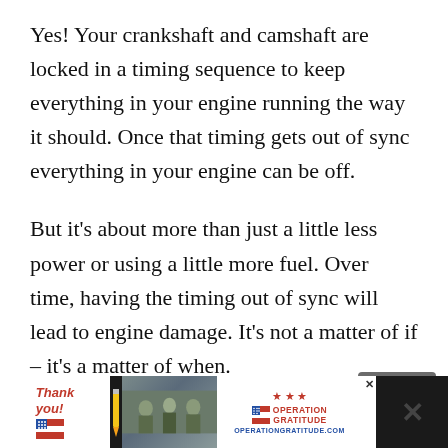Yes! Your crankshaft and camshaft are locked in a timing sequence to keep everything in your engine running the way it should. Once that timing gets out of sync everything in your engine can be off.
But it's about more than just a little less power or using a little more fuel. Over time, having the timing out of sync will lead to engine damage. It's not a matter of if – it's a matter of when.
Compounding the issue is that if the problem is a worn timing belt, then the timing will only get
[Figure (other): Advertisement banner for Operation Gratitude featuring a thank you message with patriotic imagery, a photo of soldiers, and Operation Gratitude logo.]